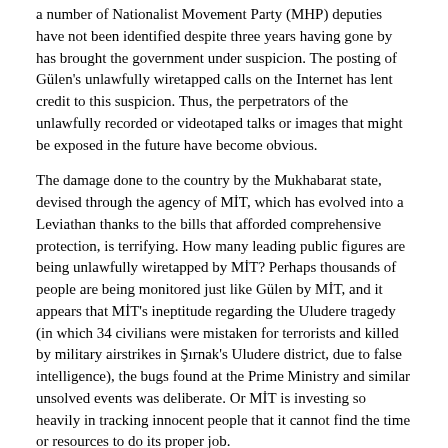a number of Nationalist Movement Party (MHP) deputies have not been identified despite three years having gone by has brought the government under suspicion. The posting of Gülen's unlawfully wiretapped calls on the Internet has lent credit to this suspicion. Thus, the perpetrators of the unlawfully recorded or videotaped talks or images that might be exposed in the future have become obvious.
The damage done to the country by the Mukhabarat state, devised through the agency of MİT, which has evolved into a Leviathan thanks to the bills that afforded comprehensive protection, is terrifying. How many leading public figures are being unlawfully wiretapped by MİT? Perhaps thousands of people are being monitored just like Gülen by MİT, and it appears that MİT's ineptitude regarding the Uludere tragedy (in which 34 civilians were mistaken for terrorists and killed by military airstrikes in Şırnak's Uludere district, due to false intelligence), the bugs found at the Prime Ministry and similar unsolved events was deliberate. Or MİT is investing so heavily in tracking innocent people that it cannot find the time or resources to do its proper job.
What do officials plan to do against this illegality? Do the president, Parliament and relevant authorities plan to do anything about this unlawful act by the people and groups that unlawfully wiretap and expose phone talks in a manner favorable to the government? Will